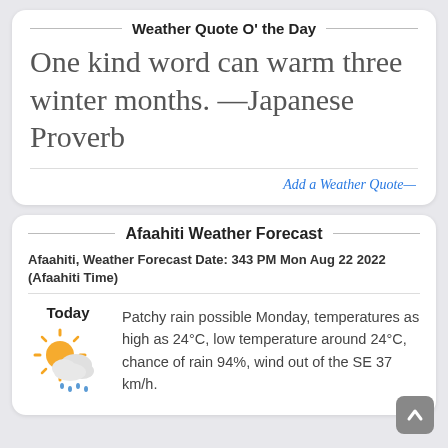Weather Quote O' the Day
One kind word can warm three winter months. —Japanese Proverb
Add a Weather Quote—
Afaahiti Weather Forecast
Afaahiti, Weather Forecast Date: 343 PM Mon Aug 22 2022 (Afaahiti Time)
Today
[Figure (illustration): Weather icon showing sun partially behind clouds with rain drops]
Patchy rain possible Monday, temperatures as high as 24°C, low temperature around 24°C, chance of rain 94%, wind out of the SE 37 km/h.